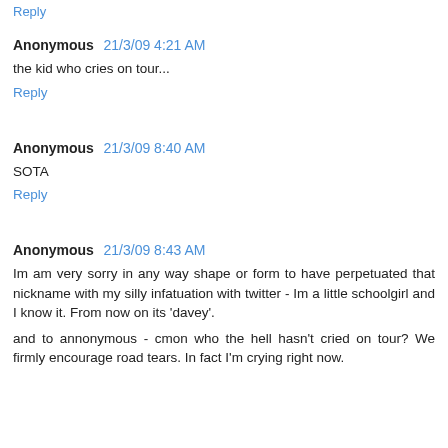Reply
Anonymous  21/3/09 4:21 AM
the kid who cries on tour...
Reply
Anonymous  21/3/09 8:40 AM
SOTA
Reply
Anonymous  21/3/09 8:43 AM
Im am very sorry in any way shape or form to have perpetuated that nickname with my silly infatuation with twitter - Im a little schoolgirl and I know it. From now on its 'davey'.
and to annonymous - cmon who the hell hasn't cried on tour? We firmly encourage road tears. In fact I'm crying right now.